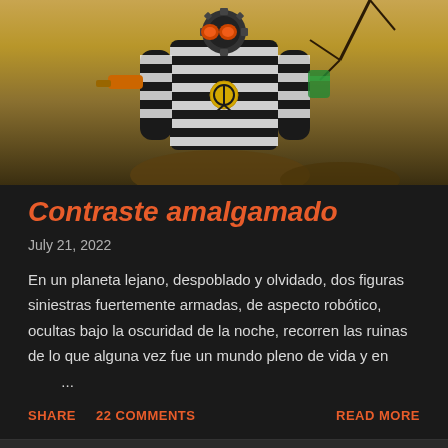[Figure (illustration): A steampunk/sci-fi robotic figure wearing black and white striped gear, with goggles and a peace sign medallion, set against a golden-brown desolate alien landscape background.]
Contraste amalgamado
July 21, 2022
En un planeta lejano, despoblado y olvidado, dos figuras siniestras fuertemente armadas, de aspecto robótico, ocultas bajo la oscuridad de la noche, recorren las ruinas de lo que alguna vez fue un mundo pleno de vida y en ...
SHARE   22 COMMENTS   READ MORE